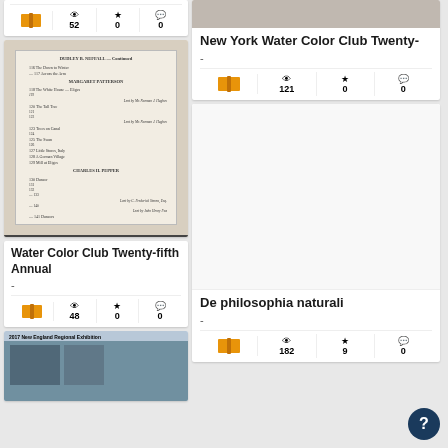[Figure (screenshot): Library/archive web interface showing book cards with thumbnails, titles, and stats (views, stars, comments)]
New York Water Color Club Twenty-
-
121
0
0
52
0
0
[Figure (photo): Scanned book page showing a table of contents with handwritten-style text entries]
Water Color Club Twenty-fifth Annual
-
48
0
0
[Figure (photo): Thumbnail of 2017 New England Regional Exhibition catalog]
De philosophia naturali
-
182
9
0